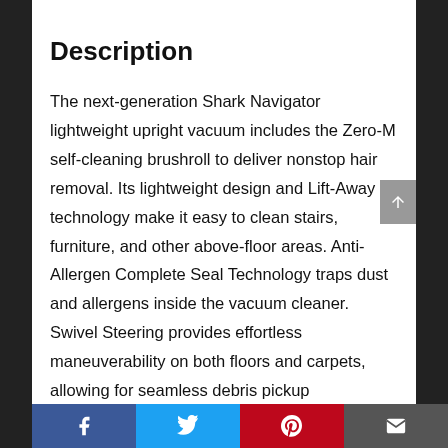Description
The next-generation Shark Navigator lightweight upright vacuum includes the Zero-M self-cleaning brushroll to deliver nonstop hair removal. Its lightweight design and Lift-Away technology make it easy to clean stairs, furniture, and other above-floor areas. Anti-Allergen Complete Seal Technology traps dust and allergens inside the vacuum cleaner. Swivel Steering provides effortless maneuverability on both floors and carpets, allowing for seamless debris pickup